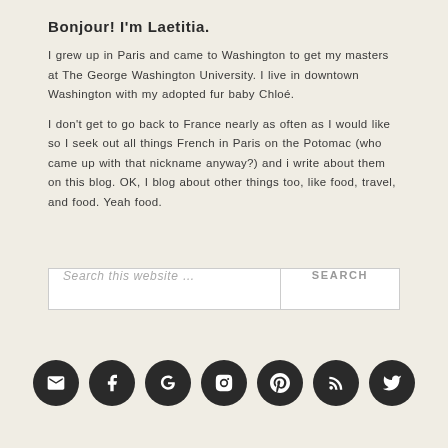Bonjour! I'm Laetitia.
I grew up in Paris and came to Washington to get my masters at The George Washington University. I live in downtown Washington with my adopted fur baby Chloé.
I don't get to go back to France nearly as often as I would like so I seek out all things French in Paris on the Potomac (who came up with that nickname anyway?) and i write about them on this blog. OK, I blog about other things too, like food, travel, and food. Yeah food.
Search this website …  SEARCH
[Figure (infographic): Social media icon buttons: email, facebook, google+, instagram, pinterest, rss, twitter]